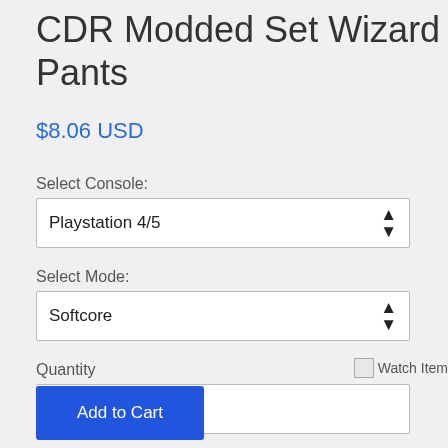CDR Modded Set Wizard Pants
$8.06 USD
Select Console:
Playstation 4/5
Select Mode:
Softcore
Quantity
Watch Item
1
Add to Cart